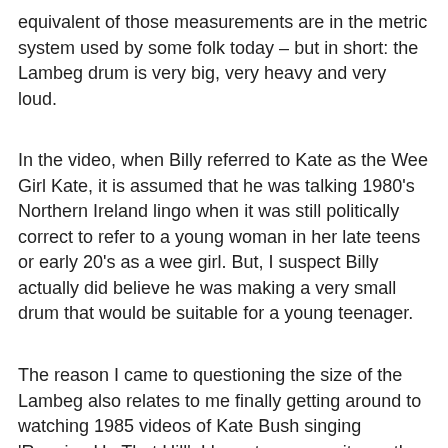equivalent of those measurements are in the metric system used by some folk today – but in short: the Lambeg drum is very big, very heavy and very loud.
In the video, when Billy referred to Kate as the Wee Girl Kate, it is assumed that he was talking 1980's Northern Ireland lingo when it was still politically correct to refer to a young woman in her late teens or early 20's as a wee girl. But, I suspect Billy actually did believe he was making a very small drum that would be suitable for a young teenager.
The reason I came to questioning the size of the Lambeg also relates to me finally getting around to watching 1985 videos of Kate Bush singing 'Running Up That Hill'. I have to assume it was the original recording that was used and I couldn't hear familiar sounds of a Lambeg drum - as I know it.
This is best link I could find to a live performance of the